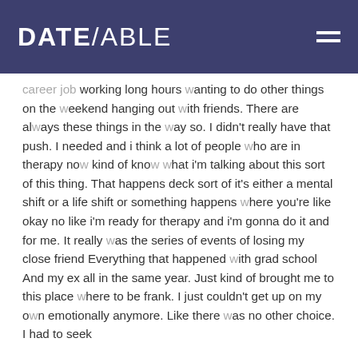DATE/ABLE
career job working long hours wanting to do other things on the weekend hanging out with friends. There are always these things in the way so. I didn't really have that push. I needed and i think a lot of people who are in therapy now kind of know what i'm talking about this sort of this thing. That happens deck sort of it's either a mental shift or a life shift or something happens where you're like okay no like i'm ready for therapy and i'm gonna do it and for me. It really was the series of events of losing my close friend Everything that happened with grad school And my ex all in the same year. Just kind of brought me to this place where to be frank. I just couldn't get up on my own emotionally anymore. Like there was no other choice. I had to seek